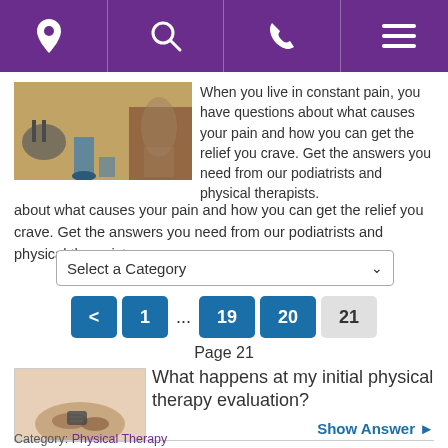[Figure (screenshot): Purple navigation bar with location pin, search, phone, and hamburger menu icons]
[Figure (photo): Photo of a podiatrist or therapist working on a patient's feet in a clinical setting]
When you live in constant pain, you have questions about what causes your pain and how you can get the relief you crave. Get the answers you need from our podiatrists and physical therapists.
[Figure (screenshot): Dropdown selector labeled 'Select a Category']
[Figure (screenshot): Pagination controls showing: < 1 ... 19 20 21, with Page 21 label]
[Figure (photo): Thumbnail image of a person receiving physical therapy on their knee]
What happens at my initial physical therapy evaluation?
Show Answer ▶
Category: Physical Therapy